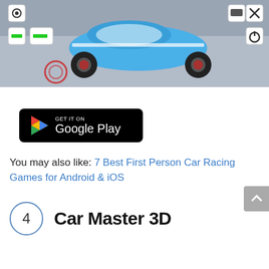[Figure (screenshot): Screenshot of a 3D car racing game showing a blue Ford Mustang on a gray surface with game UI icons]
[Figure (logo): Get it on Google Play badge — black rounded rectangle with Google Play triangle logo and text]
You may also like: 7 Best First Person Car Racing Games for Android & iOS
4  Car Master 3D